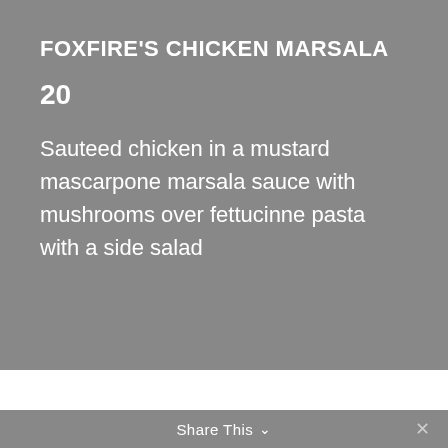FOXFIRE'S CHICKEN MARSALA
20
Sauteed chicken in a mustard mascarpone marsala sauce with mushrooms over fettucinne pasta with a side salad
Share This ∨  ✕